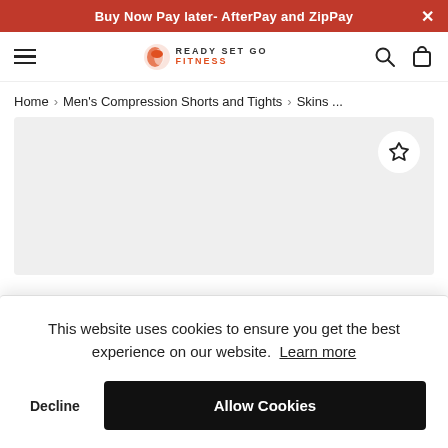Buy Now Pay later- AfterPay and ZipPay
[Figure (logo): Ready Set Go Fitness logo with hamburger menu, search and cart icons]
Home > Men's Compression Shorts and Tights > Skins ...
[Figure (photo): Product image area with wishlist star button, light grey background]
This website uses cookies to ensure you get the best experience on our website. Learn more
Decline
Allow Cookies